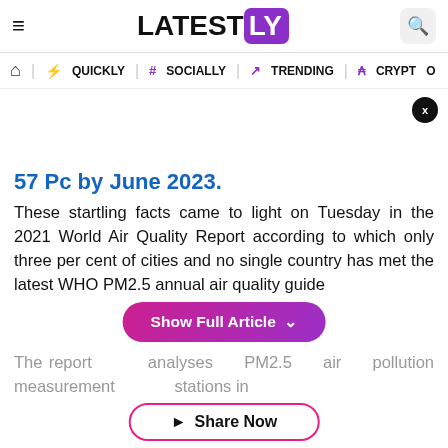LATESTLY
QUICKLY | # SOCIALLY | TRENDING | CRYPTO
57 Pc by June 2023.
These startling facts came to light on Tuesday in the 2021 World Air Quality Report according to which only three per cent of cities and no single country has met the latest WHO PM2.5 annual air quality guidelines.
The report analyses PM2.5 air pollution measurements stations in